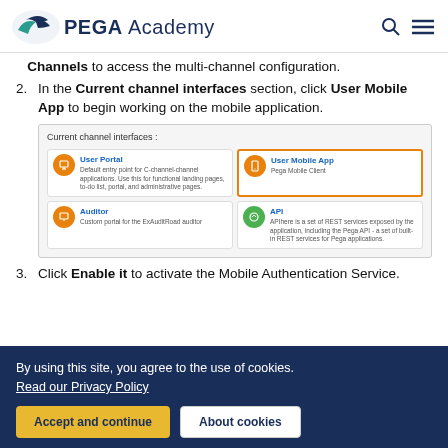PEGA Academy
Channels to access the multi-channel configuration.
2. In the Current channel interfaces section, click User Mobile App to begin working on the mobile application.
[Figure (screenshot): Screenshot of Current channel interfaces panel showing four channel cards: User Portal, User Mobile App (highlighted in orange border), Auditor, and API.]
3. Click Enable it to activate the Mobile Authentication Service.
By using this site, you agree to the use of cookies. Read our Privacy Policy. Accept and continue. About cookies.